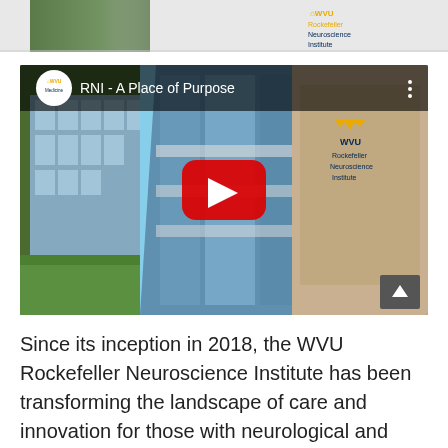[Figure (screenshot): Top banner area with partial image on left and WVU Rockefeller Neuroscience Institute logo on right]
[Figure (screenshot): YouTube video thumbnail for 'RNI - A Place of Purpose' showing WVU Medicine branding, three building photos, a red YouTube play button, and a scroll-up arrow. WVU Rockefeller Neuroscience Institute buildings are shown.]
Since its inception in 2018, the WVU Rockefeller Neuroscience Institute has been transforming the landscape of care and innovation for those with neurological and mental health conditions in